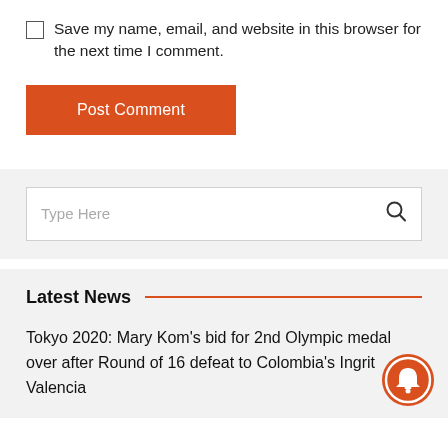Save my name, email, and website in this browser for the next time I comment.
Post Comment
[Figure (screenshot): Search bar with placeholder text 'Type Here' and a search icon on the right]
Latest News
Tokyo 2020: Mary Kom's bid for 2nd Olympic medal over after Round of 16 defeat to Colombia's Ingrit Valencia